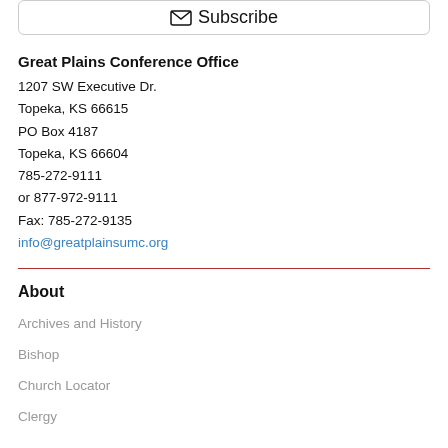[Figure (other): Subscribe button with envelope icon inside a rounded rectangle border]
Great Plains Conference Office
1207 SW Executive Dr.
Topeka, KS 66615
PO Box 4187
Topeka, KS 66604
785-272-9111
or 877-972-9111
Fax: 785-272-9135
info@greatplainsumc.org
About
Archives and History
Bishop
Church Locator
Clergy